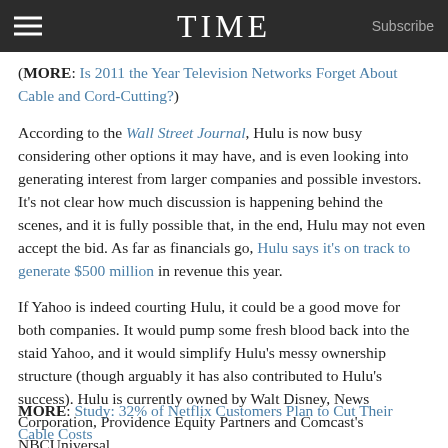TIME
(MORE: Is 2011 the Year Television Networks Forget About Cable and Cord-Cutting?)
According to the Wall Street Journal, Hulu is now busy considering other options it may have, and is even looking into generating interest from larger companies and possible investors. It’s not clear how much discussion is happening behind the scenes, and it is fully possible that, in the end, Hulu may not even accept the bid. As far as financials go, Hulu says it’s on track to generate $500 million in revenue this year.
If Yahoo is indeed courting Hulu, it could be a good move for both companies. It would pump some fresh blood back into the staid Yahoo, and it would simplify Hulu’s messy ownership structure (though arguably it has also contributed to Hulu’s success). Hulu is currently owned by Walt Disney, News Corporation, Providence Equity Partners and Comcast’s NBCUniversal.
MORE: Study: 32% of Netflix Customers Plan to Cut Their Cable Costs